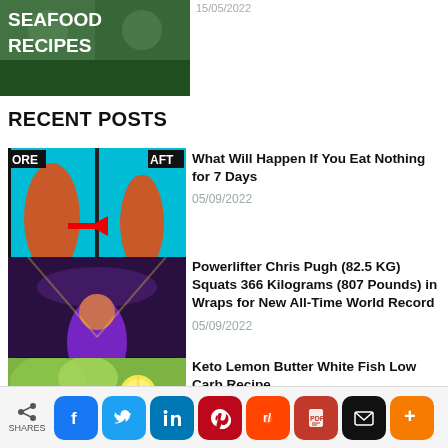[Figure (photo): Seafood Recipes thumbnail image with bold white text overlay]
15/05/2022
RECENT POSTS
[Figure (photo): Before and After fitness comparison image on cyan background]
What Will Happen If You Eat Nothing for 7 Days
05/09/2022
[Figure (photo): Powerlifter Chris Pugh competing on stage with purple/dark background]
Powerlifter Chris Pugh (82.5 KG) Squats 366 Kilograms (807 Pounds) in Wraps for New All-Time World Record
05/09/2022
[Figure (photo): Keto lemon butter white fish dish on a plate]
Keto Lemon Butter White Fish Low Carb Recipe
05/09/2022
SHARES | Facebook | Twitter | LinkedIn | Pinterest | Reddit | PDF | Mail | More